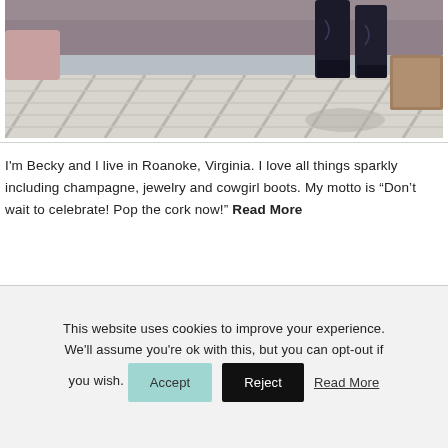[Figure (photo): Outdoor deck/balcony scene showing cowgirl boots and deck slats with shadows, viewed from above]
I'm Becky and I live in Roanoke, Virginia. I love all things sparkly including champagne, jewelry and cowgirl boots. My motto is “Don’t wait to celebrate! Pop the cork now!” Read More
This website uses cookies to improve your experience. We'll assume you're ok with this, but you can opt-out if you wish. Accept Reject Read More